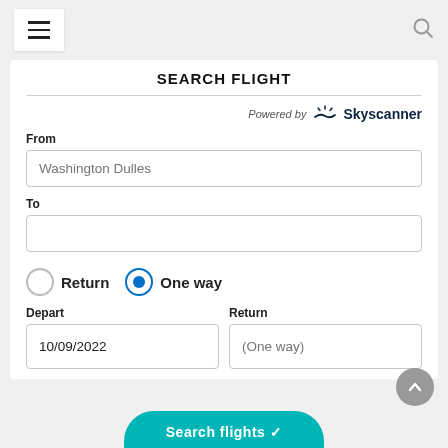Navigation bar with hamburger menu and search icon
SEARCH FLIGHT
Powered by Skyscanner
From
Washington Dulles
To
Return  One way
Depart
10/09/2022
Return
(One way)
Search flights